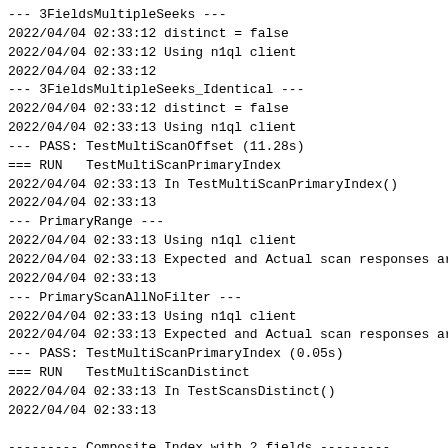--- 3FieldsMultipleSeeks ---
2022/04/04 02:33:12 distinct = false
2022/04/04 02:33:12 Using n1ql client
2022/04/04 02:33:12
--- 3FieldsMultipleSeeks_Identical ---
2022/04/04 02:33:12 distinct = false
2022/04/04 02:33:13 Using n1ql client
--- PASS: TestMultiScanOffset (11.28s)
=== RUN   TestMultiScanPrimaryIndex
2022/04/04 02:33:13 In TestMultiScanPrimaryIndex()
2022/04/04 02:33:13
--- PrimaryRange ---
2022/04/04 02:33:13 Using n1ql client
2022/04/04 02:33:13 Expected and Actual scan responses ar
2022/04/04 02:33:13
--- PrimaryScanAllNoFilter ---
2022/04/04 02:33:13 Using n1ql client
2022/04/04 02:33:13 Expected and Actual scan responses ar
--- PASS: TestMultiScanPrimaryIndex (0.05s)
=== RUN   TestMultiScanDistinct
2022/04/04 02:33:13 In TestScansDistinct()
2022/04/04 02:33:13

--------- Composite Index with 2 fields ---------
2022/04/04 02:33:13
--- ScanAllNoFilter ---
2022/04/04 02:33:13 distinct = true
2022/04/04 02:33:13 Using n1ql client
2022/04/04 02:33:13 Expected and Actual scan responses ar
2022/04/04 02:33:13